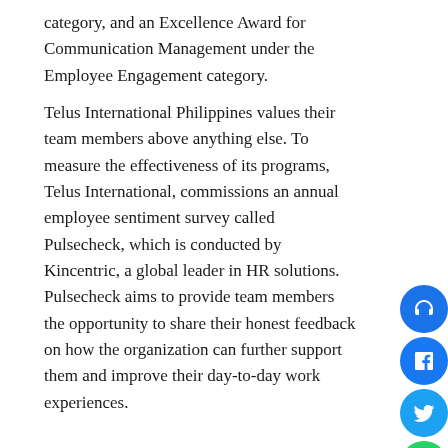category, and an Excellence Award for Communication Management under the Employee Engagement category.
Telus International Philippines values their team members above anything else. To measure the effectiveness of its programs, Telus International, commissions an annual employee sentiment survey called Pulsecheck, which is conducted by Kincentric, a global leader in HR solutions. Pulsecheck aims to provide team members the opportunity to share their honest feedback on how the organization can further support them and improve their day-to-day work experiences.